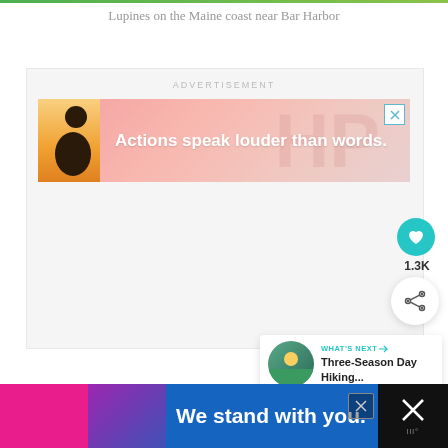Lupines on the Maine coast near Bar Harbor
ADVERTISEMENT
[Figure (illustration): Advertisement banner with person and text 'Actions speak louder than words.' on a pink/salmon background]
1.3K
[Figure (infographic): What's Next panel with thumbnail and text 'Three-Season Day Hiking...']
[Figure (illustration): Bottom advertisement banner with text 'We stand with you.' on dark background with pink, purple, and blue sections]